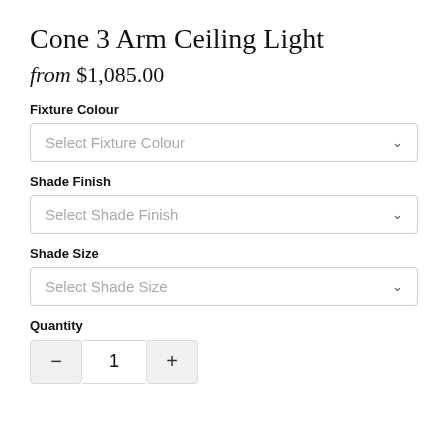Cone 3 Arm Ceiling Light
from $1,085.00
Fixture Colour
Select Fixture Colour
Shade Finish
Select Shade Finish
Shade Size
Select Shade Size
Quantity
1